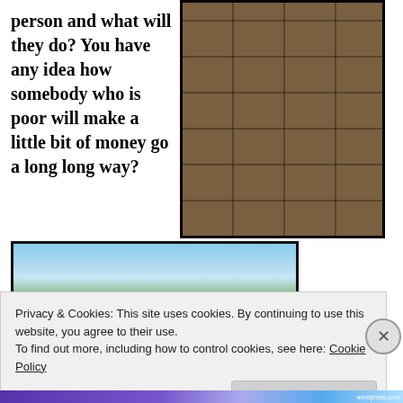person and what will they do? You have any idea how somebody who is poor will make a little bit of money go a long long way?
[Figure (photo): A person in a dark jacket and jeans leaning over a wooden shelving unit filled with round containers/tins arranged in a grid pattern. There appear to be dispensers or containers at the top.]
[Figure (photo): Partial photo showing a blue sky with palm trees and what appears to be a street scene.]
Privacy & Cookies: This site uses cookies. By continuing to use this website, you agree to their use.
To find out more, including how to control cookies, see here: Cookie Policy